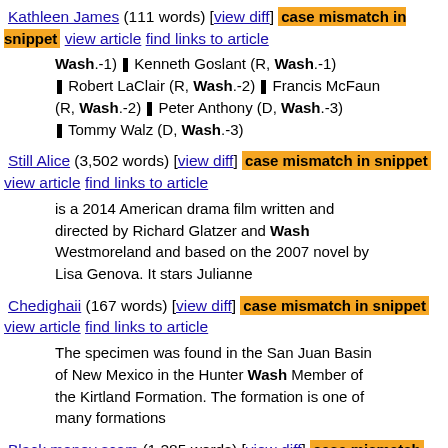Kathleen James (111 words) [view diff] case mismatch in snippet view article find links to article
Wash.-1) | Kenneth Goslant (R, Wash.-1) | Robert LaClair (R, Wash.-2) | Francis McFaun (R, Wash.-2) | Peter Anthony (D, Wash.-3) | Tommy Walz (D, Wash.-3)
Still Alice (3,502 words) [view diff] case mismatch in snippet view article find links to article
is a 2014 American drama film written and directed by Richard Glatzer and Wash Westmoreland and based on the 2007 novel by Lisa Genova. It stars Julianne
Chedighaii (167 words) [view diff] case mismatch in snippet view article find links to article
The specimen was found in the San Juan Basin of New Mexico in the Hunter Wash Member of the Kirtland Formation. The formation is one of many formations
Black money scam (1,285 words) [view diff] case mismatch